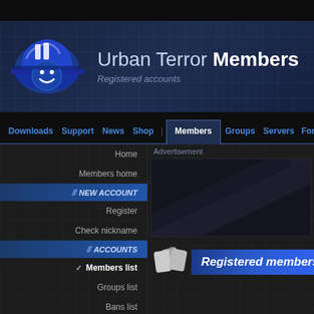Urban Terror Members - Registered accounts
Downloads | Support | News | Shop | Members | Groups | Servers | Foru
Home
Members home
NEW ACCOUNT
Register
Check nickname
ACCOUNTS
Members list
Groups list
Bans list
ADMINS
Urt Staff
Advertisement
[Figure (infographic): Registered members section header with dog-tag icons]
Member levels:
.pt Po